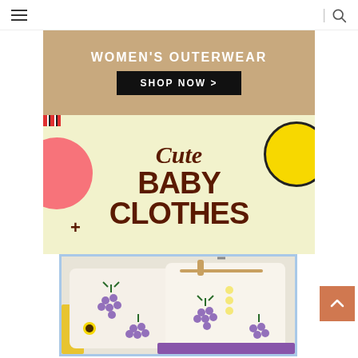Navigation bar with hamburger menu and search icon
[Figure (infographic): Women's Outerwear promotional banner with tan/beige background, white bold text 'WOMEN'S OUTERWEAR' and black 'SHOP NOW >' button]
[Figure (infographic): Baby clothes promotional banner with light yellow background, decorative pink circle, yellow circle, plus sign, text 'Cute BABY CLOTHES' in dark brown serif/bold fonts]
[Figure (photo): Product photo of white baby knit sweaters/cardigans with purple grape embellishments on a wooden hanger, framed with light blue border]
WOMEN'S OUTERWEAR
SHOP NOW >
Cute BABY CLOTHES